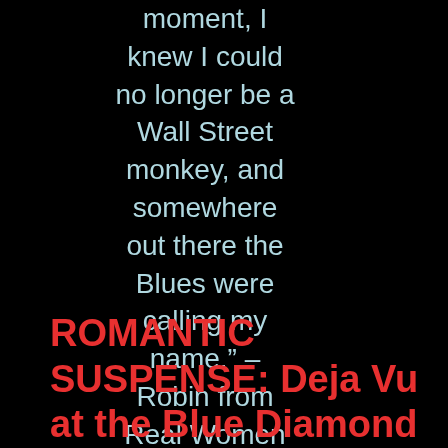moment, I knew I could no longer be a Wall Street monkey, and somewhere out there the Blues were calling my name." – Robin from Real Women Sing the Blues
ROMANTIC SUSPENSE: Deja Vu at the Blue Diamond